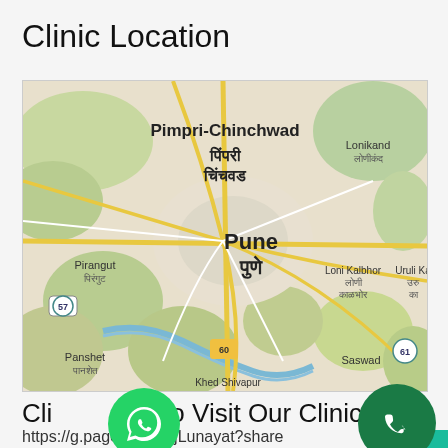Clinic Location
[Figure (map): Google Maps screenshot showing Pune and surrounding areas including Pimpri-Chinchwad, Pirangut, Lonikand, Loni Kalbhor, Panshet, Saswad, with road network and highway markers 57, 60, 61]
Click How To Visit Our Clinic
https://g.page/DrSurajLunayat?share